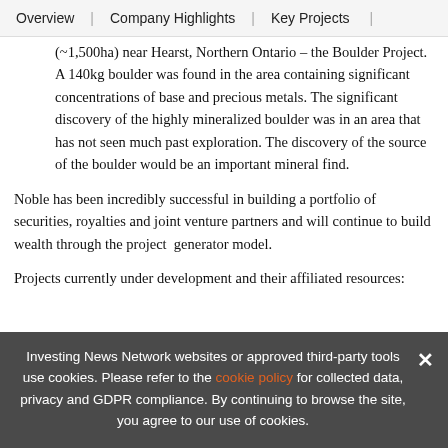Overview  |  Company Highlights  |  Key Projects  |
(~1,500ha) near Hearst, Northern Ontario – the Boulder Project. A 140kg boulder was found in the area containing significant concentrations of base and precious metals. The significant discovery of the highly mineralized boulder was in an area that has not seen much past exploration. The discovery of the source of the boulder would be an important mineral find.
Noble has been incredibly successful in building a portfolio of securities, royalties and joint venture partners and will continue to build wealth through the project generator model.
Projects currently under development and their affiliated resources:
Investing News Network websites or approved third-party tools use cookies. Please refer to the cookie policy for collected data, privacy and GDPR compliance. By continuing to browse the site, you agree to our use of cookies.